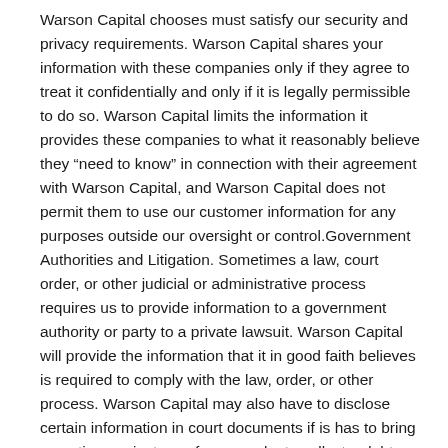Warson Capital chooses must satisfy our security and privacy requirements. Warson Capital shares your information with these companies only if they agree to treat it confidentially and only if it is legally permissible to do so. Warson Capital limits the information it provides these companies to what it reasonably believe they “need to know” in connection with their agreement with Warson Capital, and Warson Capital does not permit them to use our customer information for any purposes outside our oversight or control.Government Authorities and Litigation. Sometimes a law, court order, or other judicial or administrative process requires us to provide information to a government authority or party to a private lawsuit. Warson Capital will provide the information that it in good faith believes is required to comply with the law, order, or other process. Warson Capital may also have to disclose certain information in court documents if is has to bring an action against you, for example, to collect a debt you owe Warson Capital.